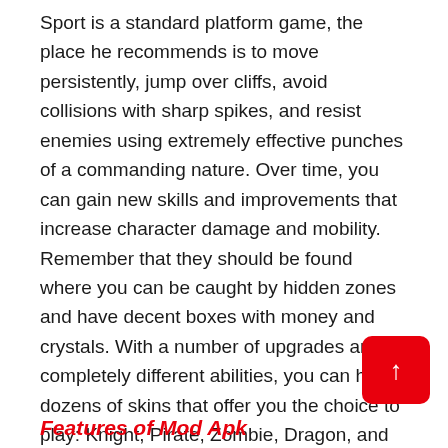Sport is a standard platform game, the place he recommends is to move persistently, jump over cliffs, avoid collisions with sharp spikes, and resist enemies using extremely effective punches of a commanding nature. Over time, you can gain new skills and improvements that increase character damage and mobility. Remember that they should be found where you can be caught by hidden zones and have decent boxes with money and crystals. With a number of upgrades and completely different abilities, you can have dozens of skins that offer you the choice to play: Knight, Pirate, Zombie, Dragon, and completely different, no less pleasing creatures. The pixel graphics are perfectly suited to the game, and the huge variety of locations shouldn't mean you can get really bored for too lo
Features of Mod Apk